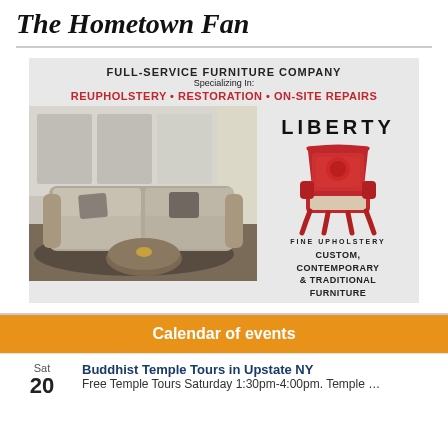The Hometown Fan
[Figure (advertisement): Liberty Fine Upholstery advertisement. Full-service furniture company specializing in: Reupholstery, Restoration, On-site Repairs. Shows sofa room photo on left and Liberty Fine Upholstery logo with red chair illustration on right. Custom, Contemporary & Traditional Furniture.]
Calendar of events
Sat 20 Buddhist Temple Tours in Upstate NY — Free Temple Tours Saturday 1:30pm-4:00pm. Temple ...